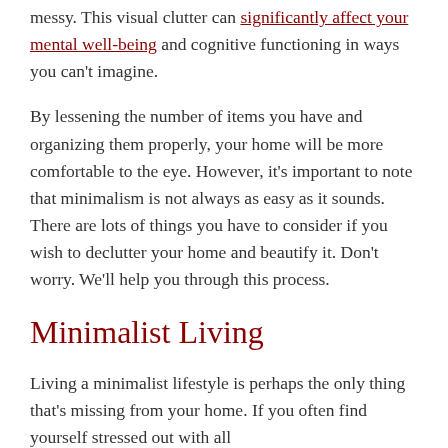messy. This visual clutter can significantly affect your mental well-being and cognitive functioning in ways you can't imagine.
By lessening the number of items you have and organizing them properly, your home will be more comfortable to the eye. However, it's important to note that minimalism is not always as easy as it sounds. There are lots of things you have to consider if you wish to declutter your home and beautify it. Don't worry. We'll help you through this process.
Minimalist Living
Living a minimalist lifestyle is perhaps the only thing that's missing from your home. If you often find yourself stressed out with all